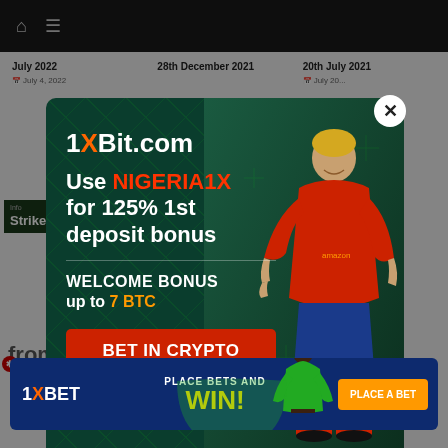Navigation bar with home and menu icons
July 2022
July 4, 2022
28th December 2021
20th July 2021
[Figure (screenshot): 1xBit.com cryptocurrency betting promotional modal popup over a Nigerian sports news website. Text reads: '1XBit.com - Use NIGERIA1X for 125% 1st deposit bonus - WELCOME BONUS up to 7 BTC - BET in CRYPTO'. Features a footballer in red jersey.]
[Figure (screenshot): 1xBet bottom banner ad: 'PLACE BETS AND WIN! PLACE A BET' with a person in green shirt]